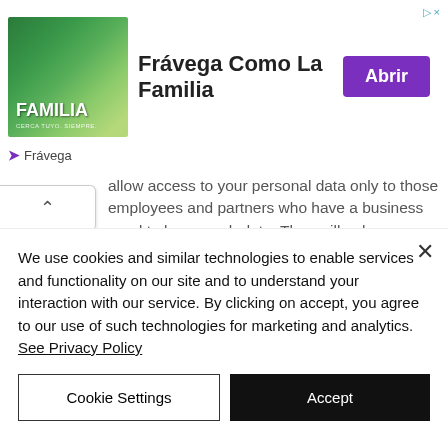[Figure (screenshot): Advertisement banner for Frávega showing a group of people with text 'FAMILIA', the headline 'Frávega Como La Familia', and an 'Abrir' (Open) button in purple. A small Frávega logo link appears below.]
allow access to your personal data only to those employees and partners who have a business need to know such data. They will only process your personal data on our instructions and they must keep it confidential.

We have procedures in place to deal with any suspected personal data breach and will notify you and any applicable regulator
We use cookies and similar technologies to enable services and functionality on our site and to understand your interaction with our service. By clicking on accept, you agree to our use of such technologies for marketing and analytics. See Privacy Policy
Cookie Settings
Accept